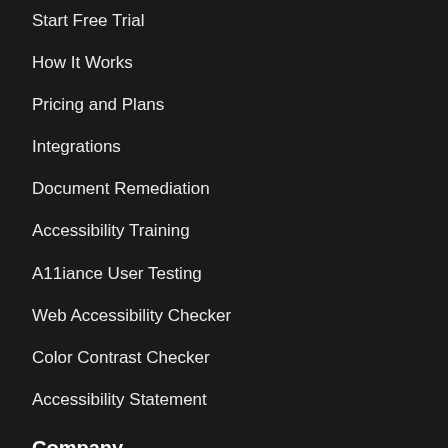Start Free Trial
How It Works
Pricing and Plans
Integrations
Document Remediation
Accessibility Training
A11iance User Testing
Web Accessibility Checker
Color Contrast Checker
Accessibility Statement
Company
About Us
Investor Relations